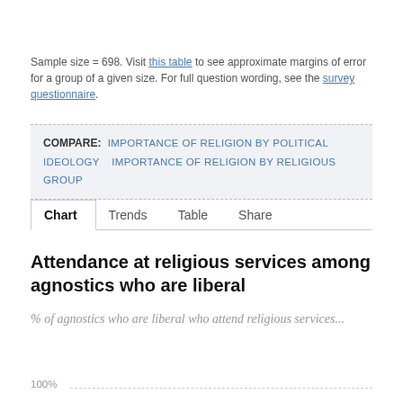Sample size = 698. Visit this table to see approximate margins of error for a group of a given size. For full question wording, see the survey questionnaire.
COMPARE: IMPORTANCE OF RELIGION BY POLITICAL IDEOLOGY  IMPORTANCE OF RELIGION BY RELIGIOUS GROUP
Chart  Trends  Table  Share
Attendance at religious services among agnostics who are liberal
% of agnostics who are liberal who attend religious services...
100%